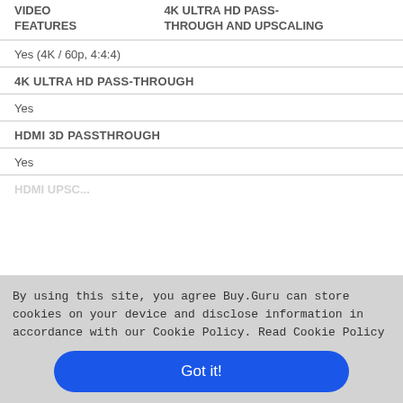| VIDEO FEATURES | 4K ULTRA HD PASS-THROUGH AND UPSCALING |
| --- | --- |
| Yes (4K / 60p, 4:4:4) | 4K ULTRA HD PASS-THROUGH |
| Yes | HDMI 3D PASSTHROUGH |
| Yes |  |
By using this site, you agree Buy.Guru can store cookies on your device and disclose information in accordance with our Cookie Policy. Read Cookie Policy
Got it!